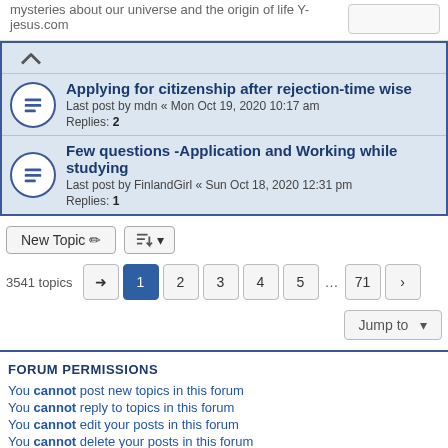mysteries about our universe and the origin of life Y-jesus.com
Applying for citizenship after rejection-time wise
Last post by mdn « Mon Oct 19, 2020 10:17 am
Replies: 2
Few questions -Application and Working while studying
Last post by FinlandGirl « Sun Oct 18, 2020 12:31 pm
Replies: 1
3541 topics  1 2 3 4 5 ... 71
Jump to
FORUM PERMISSIONS
You cannot post new topics in this forum
You cannot reply to topics in this forum
You cannot edit your posts in this forum
You cannot delete your posts in this forum
Home · Board index · Contact us
Powered by phpBB® Forum Software © phpBB Limited
Privacy | Terms